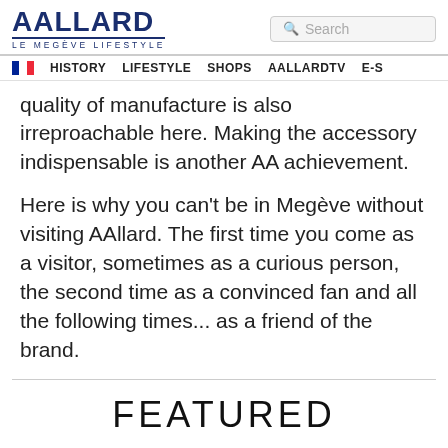AALLARD LE MEGÈVE LIFESTYLE | Search | HISTORY | LIFESTYLE | SHOPS | AALLARDTV | E-S
quality of manufacture is also irreproachable here. Making the accessory indispensable is another AA achievement.
Here is why you can't be in Megève without visiting AAllard. The first time you come as a visitor, sometimes as a curious person, the second time as a convinced fan and all the following times... as a friend of the brand.
FEATURED